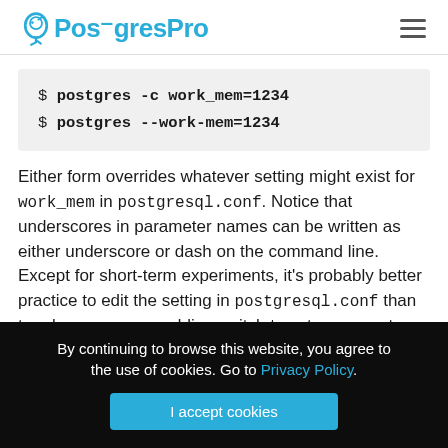PostgresPro
$ postgres -c work_mem=1234
$ postgres --work-mem=1234
Either form overrides whatever setting might exist for work_mem in postgresql.conf. Notice that underscores in parameter names can be written as either underscore or dash on the command line. Except for short-term experiments, it's probably better practice to edit the setting in postgresql.conf than to rely on a command-line switch to set a parameter.
By continuing to browse this website, you agree to the use of cookies. Go to Privacy Policy.